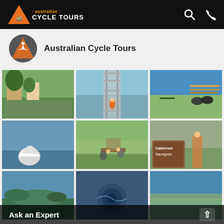Australian Cycle Tours - navigation bar with logo, search and phone icons
Australian Cycle Tours
[Figure (photo): Photo grid of Australian Cycle Tours activities: couple in orchard, cyclists on bridge, bikes at Kiama Blowhole sign, whale breaching, mountain bikers on trail, cyclist at vineyard Cabernet Sauvignon sign, landscape, water swirl, coastal view]
Ask an Expert